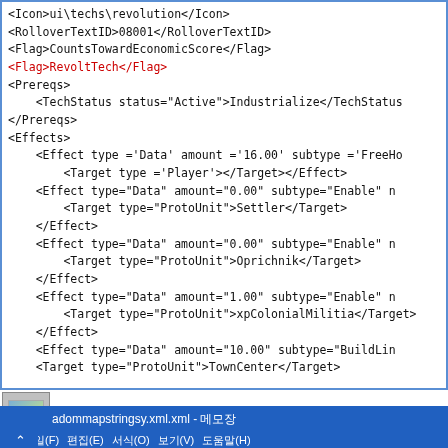<Icon>ui\techs\revolution</Icon>
<RolloverTextID>08001</RolloverTextID>
<Flag>CountsTowardEconomicScore</Flag>
<Flag>RevoltTech</Flag>
<Prereqs>
    <TechStatus status="Active">Industrialize</TechStatus>
</Prereqs>
<Effects>
    <Effect type ='Data' amount ='16.00' subtype ='FreeHo
        <Target type ='Player'></Target></Effect>
    <Effect type="Data" amount="0.00" subtype="Enable" n
        <Target type="ProtoUnit">Settler</Target>
    </Effect>
    <Effect type="Data" amount="0.00" subtype="Enable" n
        <Target type="ProtoUnit">Oprichnik</Target>
    </Effect>
    <Effect type="Data" amount="1.00" subtype="Enable" n
        <Target type="ProtoUnit">xpColonialMilitia</Target>
    </Effect>
    <Effect type="Data" amount="10.00" subtype="BuildLin
    <Target type="ProtoUnit">TownCenter</Target>
[Figure (screenshot): Taskbar icon showing a landscape/map image thumbnail]
adommapstringsy.xml.xml - 메모장
파일(F)  편집(E)  서식(O)  보기(V)  도움말(H)